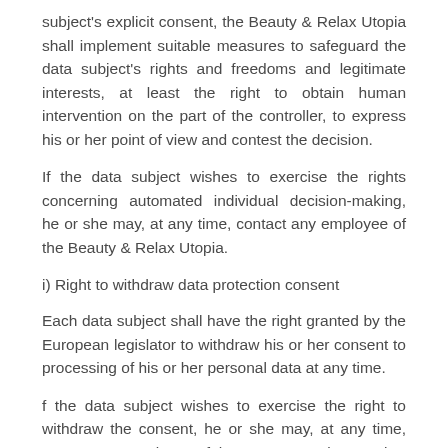subject's explicit consent, the Beauty & Relax Utopia shall implement suitable measures to safeguard the data subject's rights and freedoms and legitimate interests, at least the right to obtain human intervention on the part of the controller, to express his or her point of view and contest the decision.
If the data subject wishes to exercise the rights concerning automated individual decision-making, he or she may, at any time, contact any employee of the Beauty & Relax Utopia.
i) Right to withdraw data protection consent
Each data subject shall have the right granted by the European legislator to withdraw his or her consent to processing of his or her personal data at any time.
f the data subject wishes to exercise the right to withdraw the consent, he or she may, at any time, contact any employee of the Beauty & Relax Utopia.
11. Data protection provisions about the application and use of Facebook